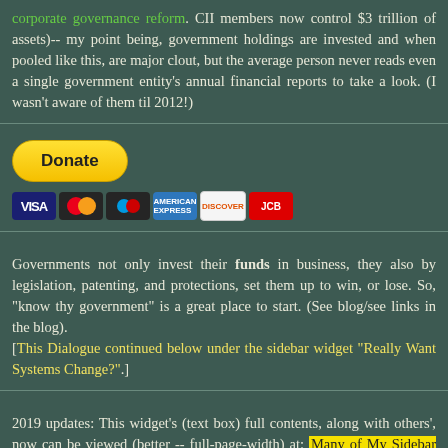push for corporate governance reform. CII members now control $3 trillion of assets)-- my point being, government holdings are invested and when pooled like this, are major clout, but the average person never reads even a single government entity's annual financial reports to take a look. (I wasn't aware of them til 2012!)
[Figure (other): PayPal Donate button with payment card icons (Visa, Mastercard, Maestro, Amex, Discover, JCB)]
Governments not only invest their funds in business, they also by legislation, patenting, and protections, set them up to win, or lose. So, "know thy government" is a great place to start. (See blog/see links in the blog). [This Dialogue continued below under the sidebar widget "Really Want Systems Change?"]
2019 updates: This widget's (text box) full contents, along with others', now can be viewed (better -- full-page-width) at: Many of My Sidebar Widgets Now Live Here. [Published July 9, 2019]Published short (url short link ends